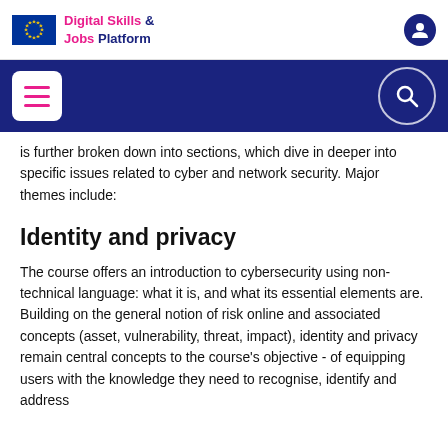Digital Skills & Jobs Platform
is further broken down into sections, which dive in deeper into specific issues related to cyber and network security. Major themes include:
Identity and privacy
The course offers an introduction to cybersecurity using non-technical language: what it is, and what its essential elements are. Building on the general notion of risk online and associated concepts (asset, vulnerability, threat, impact), identity and privacy remain central concepts to the course's objective - of equipping users with the knowledge they need to recognise, identify and address